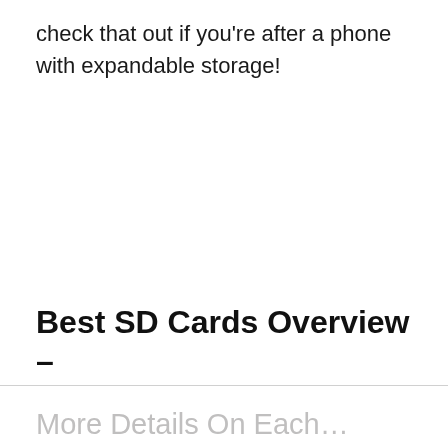check that out if you're after a phone with expandable storage!
Best SD Cards Overview –
More Details On Each…